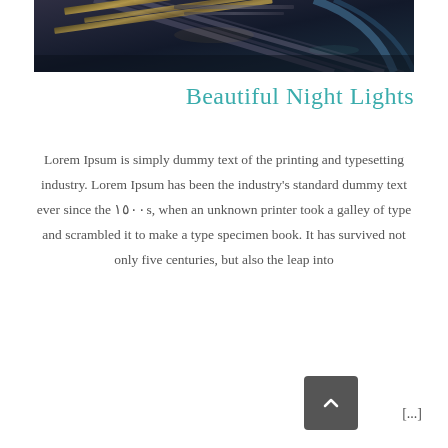[Figure (photo): Dark nighttime photo showing metallic structures, rails or tracks with reflective surfaces against a dark blue-black background]
Beautiful Night Lights
Lorem Ipsum is simply dummy text of the printing and typesetting industry. Lorem Ipsum has been the industry's standard dummy text ever since the ١٥٠٠s, when an unknown printer took a galley of type and scrambled it to make a type specimen book. It has survived not only five centuries, but also the leap into
[...]